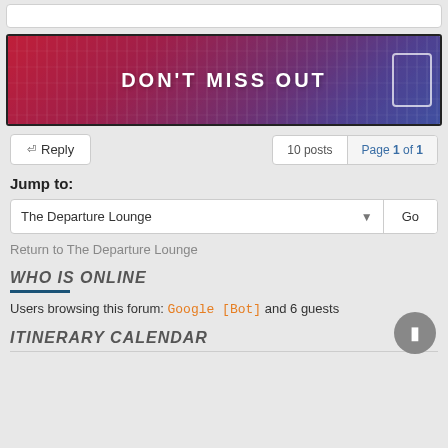[Figure (illustration): Banner image with city skyline background in red-purple gradient, text 'DON'T MISS OUT' in white bold letters, white rectangle outline on right side]
Reply   10 posts   Page 1 of 1
Jump to:
The Departure Lounge   Go
Return to The Departure Lounge
WHO IS ONLINE
Users browsing this forum: Google [Bot] and 6 guests
ITINERARY CALENDAR